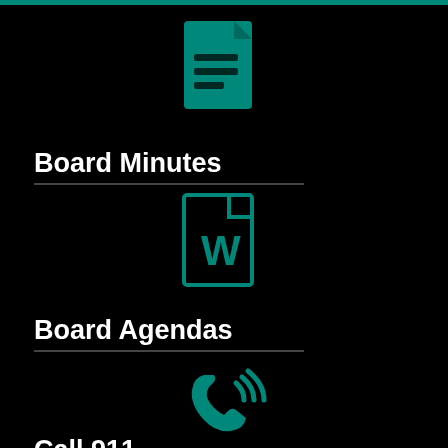[Figure (illustration): Teal document/file icon with lines representing text]
Board Minutes
[Figure (illustration): Teal Microsoft Word document icon with W]
Board Agendas
[Figure (illustration): Teal phone/call icon with sound waves]
Call 911
for Emergencies
[Figure (illustration): Teal warning/caution triangle icon with exclamation mark]
[Figure (illustration): White accessibility person icon]